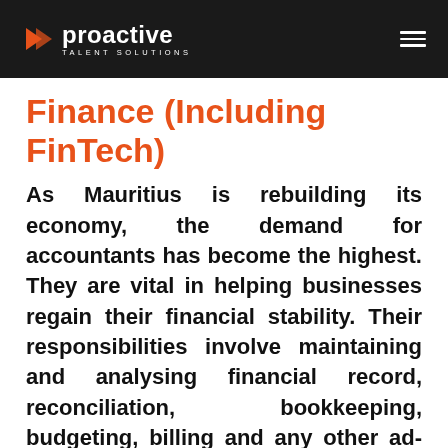proactive TALENT SOLUTIONS
Finance (Including FinTech)
As Mauritius is rebuilding its economy, the demand for accountants has become the highest. They are vital in helping businesses regain their financial stability. Their responsibilities involve maintaining and analysing financial record, reconciliation, bookkeeping, budgeting, billing and any other ad-hoc tasks. Qualifications required for those jobs are either a